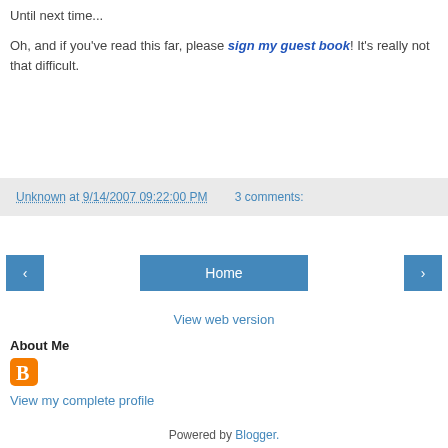Until next time...
Oh, and if you've read this far, please sign my guest book! It's really not that difficult.
Unknown at 9/14/2007 09:22:00 PM    3 comments:
[Figure (other): Navigation buttons: left arrow, Home, right arrow]
View web version
About Me
[Figure (logo): Blogger orange B logo icon]
View my complete profile
Powered by Blogger.